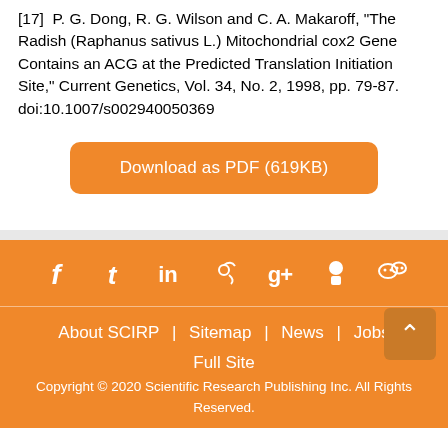[17] P. G. Dong, R. G. Wilson and C. A. Makaroff, "The Radish (Raphanus sativus L.) Mitochondrial cox2 Gene Contains an ACG at the Predicted Translation Initiation Site," Current Genetics, Vol. 34, No. 2, 1998, pp. 79-87. doi:10.1007/s002940050369
Download as PDF (619KB)
[Figure (other): Social media icons row: Facebook, Tumblr, LinkedIn, Weibo, Google+, QQ, WeChat on orange background]
About SCIRP | Sitemap | News | Jobs  Full Site  Copyright © 2020 Scientific Research Publishing Inc. All Rights Reserved.